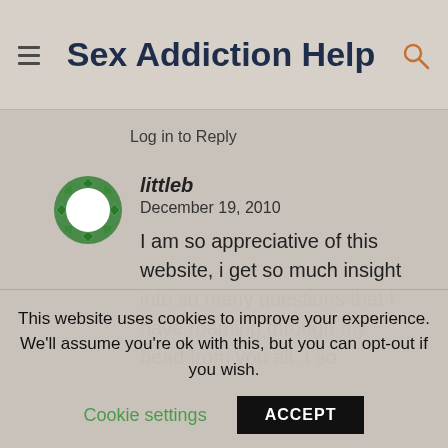Sex Addiction Help
Log in to Reply
[Figure (illustration): Round avatar with green decorative border pattern and white center]
littleb
December 19, 2010
I am so appreciative of this website, i get so much insight into so many questions that I have roaming through my head from you all. I so
This website uses cookies to improve your experience. We'll assume you're ok with this, but you can opt-out if you wish.
Cookie settings
ACCEPT